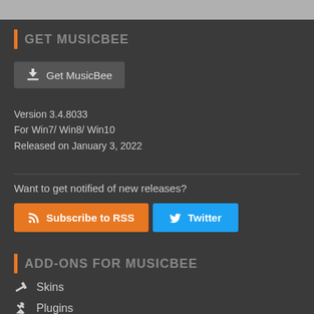GET MUSICBEE
Get MusicBee
Version 3.4.8033
For Win7/ Win8/ Win10
Released on January 3, 2022
Want to get notified of new releases?
Subscribe to RSS
Twitter
ADD-ONS FOR MUSICBEE
Skins
Plugins
Visualizer
Theater Mode